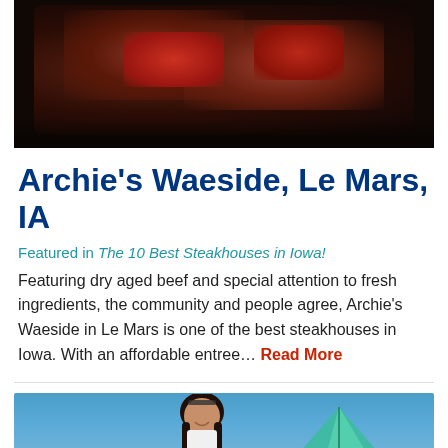[Figure (photo): Close-up photo of grilled or seared steak on a dark pan, showing charred meat with reddish center]
Archie's Waeside, Le Mars, IA
Featured in The 10 Best Steakhouses in Iowa!
Featuring dry aged beef and special attention to fresh ingredients, the community and people agree, Archie's Waeside in Le Mars is one of the best steakhouses in Iowa. With an affordable entree… Read More
[Figure (photo): Young woman smiling in front of a blue and green camping tent in an open field under blue sky]